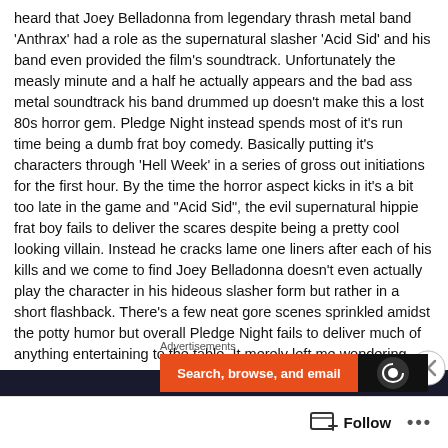heard that Joey Belladonna from legendary thrash metal band 'Anthrax' had a role as the supernatural slasher 'Acid Sid' and his band even provided the film's soundtrack. Unfortunately the measly minute and a half he actually appears and the bad ass metal soundtrack his band drummed up doesn't make this a lost 80s horror gem. Pledge Night instead spends most of it's run time being a dumb frat boy comedy. Basically putting it's characters through 'Hell Week' in a series of gross out initiations for the first hour. By the time the horror aspect kicks in it's a bit too late in the game and "Acid Sid", the evil supernatural hippie frat boy fails to deliver the scares despite being a pretty cool looking villain. Instead he cracks lame one liners after each of his kills and we come to find Joey Belladonna doesn't even actually play the character in his hideous slasher form but rather in a short flashback. There's a few neat gore scenes sprinkled amidst the potty humor but overall Pledge Night fails to deliver much of anything entertaining to the table. It merely left me wondering
[Figure (other): Close button (X circle) overlay on the right side]
Advertisements
[Figure (screenshot): Orange advertisement banner with text 'Search, browse, and email' and a dark section with a circular icon]
Follow ...